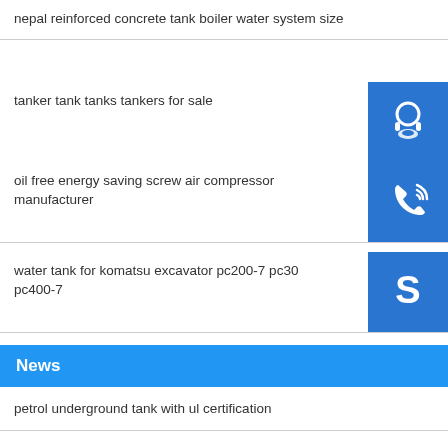nepal reinforced concrete tank boiler water system size
tanker tank tanks tankers for sale
oil free energy saving screw air compressor manufacturer
water tank for komatsu excavator pc200-7 pc300-7 pc400-7
News
petrol underground tank with ul certification
sanitary storage tank for pure water storage export